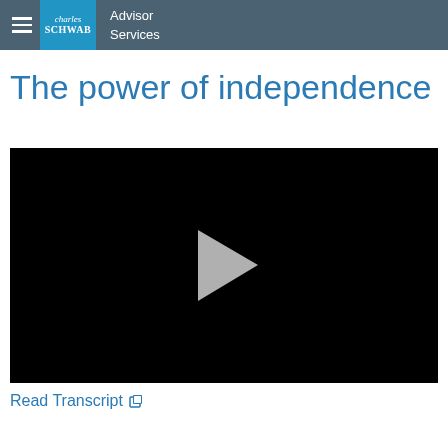charles SCHWAB Advisor Services
The power of independence
[Figure (screenshot): Black video player with gray play button triangle in the center]
Read Transcript